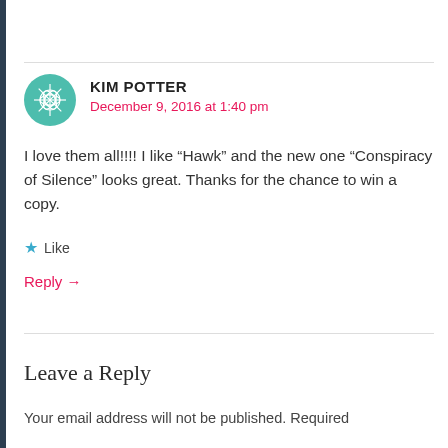KIM POTTER
December 9, 2016 at 1:40 pm
I love them all!!!! I like “Hawk” and the new one “Conspiracy of Silence” looks great. Thanks for the chance to win a copy.
★ Like
Reply →
Leave a Reply
Your email address will not be published. Required